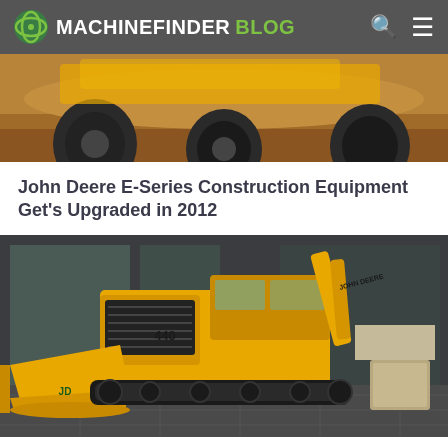MACHINEFINDER BLOG
[Figure (photo): Close-up photo of construction equipment tires/wheels on dirt/gravel ground, yellow machinery visible]
John Deere E-Series Construction Equipment Get's Upgraded in 2012
[Figure (photo): Yellow John Deere 440 crawler loader displayed indoors, showing the large bucket attachment and tracked undercarriage, in what appears to be a museum or showroom setting]